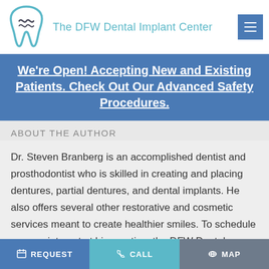The DFW Dental Implant Center
We're Open! Accepting New and Existing Patients. Check Out Our Advanced Safety Procedures.
ABOUT THE AUTHOR
Dr. Steven Branberg is an accomplished dentist and prosthodontist who is skilled in creating and placing dentures, partial dentures, and dental implants. He also offers several other restorative and cosmetic services meant to create healthier smiles. To schedule an appointment at his practice, the DFW Dental Implant Center, visit his website or call (817) 518-9958.
REQUEST   CALL   MAP